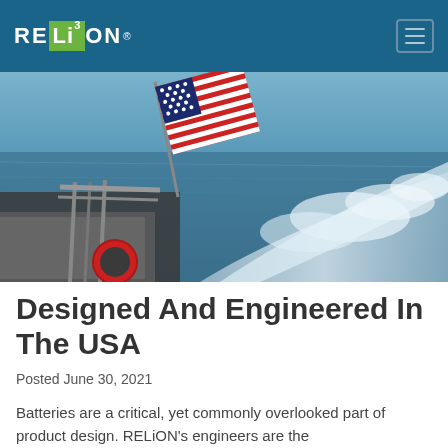RELiON (logo navigation bar)
[Figure (photo): Rear view of a speedboat on the ocean with an American flag flying, white wake waves visible, taken from the deck of a moving boat]
Designed And Engineered In The USA
Posted June 30, 2021
Batteries are a critical, yet commonly overlooked part of product design. RELiON's engineers are the